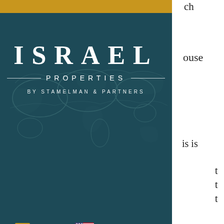[Figure (logo): Israel Properties by Stamelman & Partners logo — dark teal background with world map watermark, large white spaced text 'ISRAEL', horizontal rules with 'PROPERTIES' text, and 'BY STAMELMAN & PARTNERS' below]
bets. It gives comfort knowing if your circumstances change over time, you can always just flip it and still make a profit.
There's something really special about building a h[ome] and having a say in the finishes that are selected.
A good agent knows the [market really well about...]